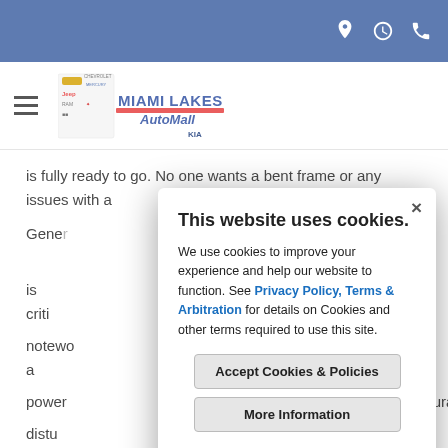Miami Lakes AutoMall website header with navigation icons (location, clock, phone)
[Figure (logo): Miami Lakes AutoMall logo with Chevrolet, Jeep, Ram, Kia brand icons]
is fully ready to go. No one wants a bent frame or any issues with a
Gener... ecure is criti... notewo... has a power... ctural distu... compa... The accele... M reache... ey would... ful and fa...
This website uses cookies.

We use cookies to improve your experience and help our website to function. See Privacy Policy, Terms & Arbitration for details on Cookies and other terms required to use this site.

Accept Cookies & Policies
More Information

Privacy Policy